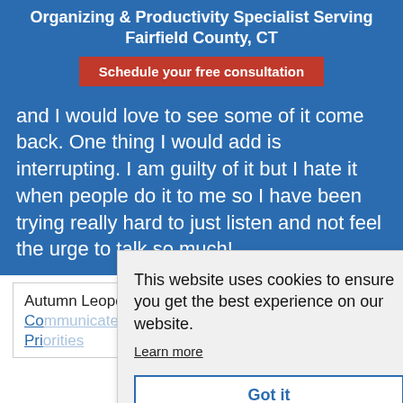Organizing & Productivity Specialist Serving Fairfield County, CT
Schedule your free consultation
and I would love to see some of it come back. One thing I would add is interrupting. I am guilty of it but I hate it when people do it to me so I have been trying really hard to just listen and not feel the urge to talk so much!
Autumn Leopold recently posted...3 Ways Co... Pri...
This website uses cookies to ensure you get the best experience on our website. Learn more
Got it